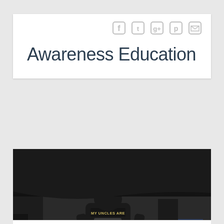Awareness Education
[Figure (photo): Child riding a small green tricycle/balance bike, wearing a black jacket with text 'MY UNCLES ARE MY ANGELS' on the back, with a photo of two smiling men printed on the jacket. Scene is outdoors on pavement with other people's legs visible in the background. Photo is in dark, desaturated tones.]